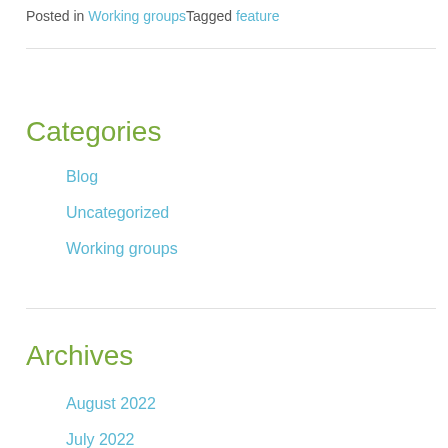Posted in Working groups Tagged feature
Categories
Blog
Uncategorized
Working groups
Archives
August 2022
July 2022
June 2022
April 2022